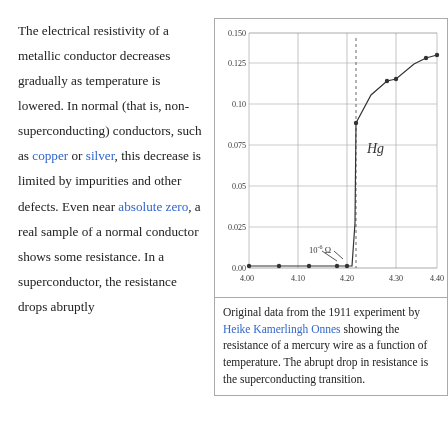The electrical resistivity of a metallic conductor decreases gradually as temperature is lowered. In normal (that is, non-superconducting) conductors, such as copper or silver, this decrease is limited by impurities and other defects. Even near absolute zero, a real sample of a normal conductor shows some resistance. In a superconductor, the resistance drops abruptly
[Figure (continuous-plot): Original 1911 Kamerlingh Onnes graph showing resistance (in Ohms) of mercury wire vs temperature (in Kelvin). Y-axis labeled from 0.00 to 0.150 Ohm. X-axis from about 4.00 to 4.40 K. Line shows abrupt drop near 4.20 K (the superconducting transition), with a dashed vertical line at Hg label. Data points shown as dots.]
Original data from the 1911 experiment by Heike Kamerlingh Onnes showing the resistance of a mercury wire as a function of temperature. The abrupt drop in resistance is the superconducting transition.